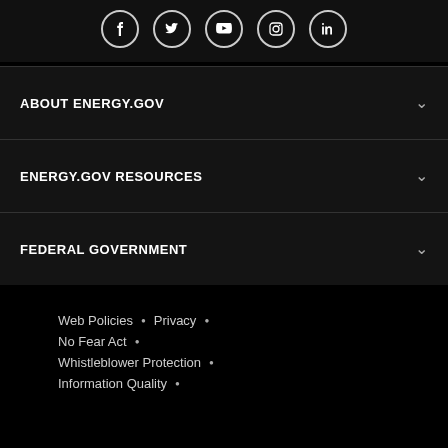[Figure (other): Social media icons row: Facebook, Twitter, YouTube, Instagram, LinkedIn — white icons in circular outlined buttons on dark background]
ABOUT ENERGY.GOV
ENERGY.GOV RESOURCES
FEDERAL GOVERNMENT
Web Policies  •  Privacy  •
No Fear Act  •
Whistleblower Protection  •
Information Quality  •